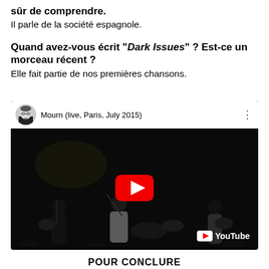sûr de comprendre.
Il parle de la société espagnole.
Quand avez-vous écrit "Dark Issues" ? Est-ce un morceau récent ?
Elle fait partie de nos premières chansons.
[Figure (screenshot): YouTube embedded video player showing 'Mourn (live, Paris, July 2015)' with a concert scene of musicians on a dark stage, YouTube play button overlay, and YouTube logo in the bottom right.]
POUR CONCLURE